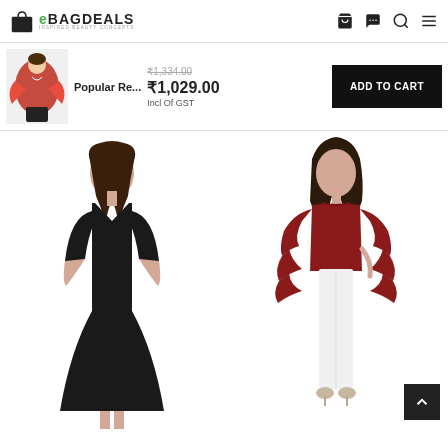eBagDeals - Inspired Beauty Concepts
[Figure (screenshot): Product thumbnail: red cape top worn by model]
Popular Re...
₹1,334.00 (strikethrough original price)
₹1,029.00
Incl Of GST
ADD TO CART
[Figure (photo): Woman model wearing black V-neck midi dress with 3/4 sleeves]
[Figure (photo): Woman model wearing dark red/maroon ruffled bell-sleeve top with white pants and necklace]